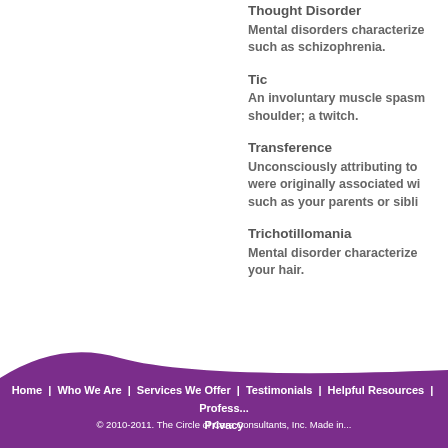Thought Disorder
Mental disorders characterized such as schizophrenia.
Tic
An involuntary muscle spasm shoulder; a twitch.
Transference
Unconsciously attributing to were originally associated with such as your parents or siblings.
Trichotillomania
Mental disorder characterized your hair.
Home | Who We Are | Services We Offer | Testimonials | Helpful Resources | Profess... | Privacy
© 2010-2011. The Circle of Care Consultants, Inc. Made in...